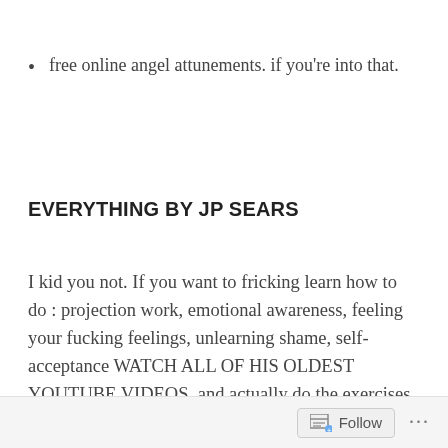free online angel attunements. if you're into that.
EVERYTHING BY JP SEARS
I kid you not. If you want to fricking learn how to do : projection work, emotional awareness, feeling your fucking feelings, unlearning shame, self-acceptance WATCH ALL OF HIS OLDEST YOUTUBE VIDEOS. and actually do the exercises. He does more of the personal work in an exclusive group but he has good
Follow ...